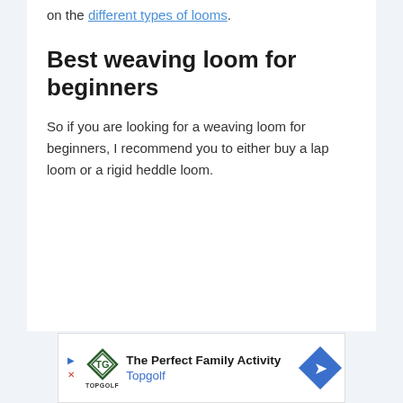on the different types of looms.
Best weaving loom for beginners
So if you are looking for a weaving loom for beginners, I recommend you to either buy a lap loom or a rigid heddle loom.
[Figure (other): Advertisement banner for Topgolf: The Perfect Family Activity]